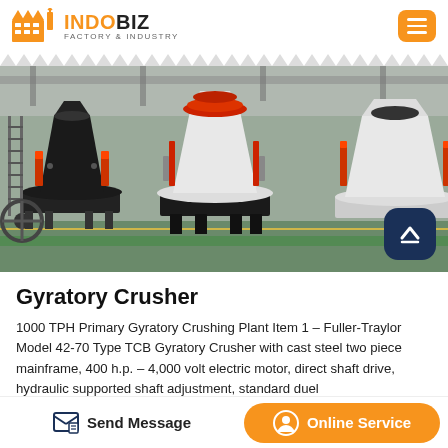INDOBIZ FACTORY & INDUSTRY
[Figure (photo): Factory floor showing multiple gyratory crushers — black and white cone crushers with red accents arranged in a large industrial warehouse with green-painted floor]
Gyratory Crusher
1000 TPH Primary Gyratory Crushing Plant Item 1 – Fuller-Traylor Model 42-70 Type TCB Gyratory Crusher with cast steel two piece mainframe, 400 h.p. – 4,000 volt electric motor, direct shaft drive, hydraulic supported shaft adjustment, standard duel
Send Message | Online Service